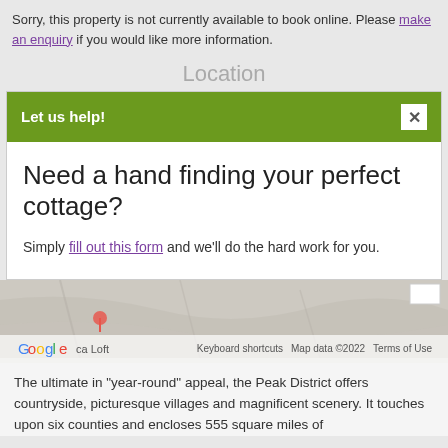Sorry, this property is not currently available to book online. Please make an enquiry if you would like more information.
Location
Let us help!
Need a hand finding your perfect cottage?
Simply fill out this form and we'll do the hard work for you.
[Figure (screenshot): Google Maps strip showing map area with Google logo, Keyboard shortcuts, Map data ©2022, and Terms of Use labels. Map label reads 'ca Loft'.]
The ultimate in "year-round" appeal, the Peak District offers countryside, picturesque villages and magnificent scenery. It touches upon six counties and encloses 555 square miles of